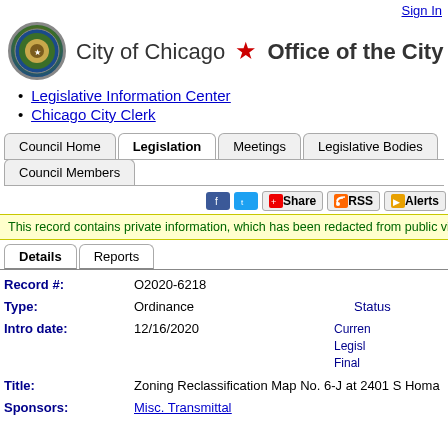Sign In
[Figure (logo): City of Chicago seal and Office of the City Clerk header logo]
Legislative Information Center
Chicago City Clerk
Navigation tabs: Council Home, Legislation (active), Meetings, Legislative Bodies, Council Members
Social sharing buttons: Facebook, Twitter, Share, RSS, Alerts
This record contains private information, which has been redacted from public view
Detail tabs: Details (active), Reports
| Field | Value | Status |
| --- | --- | --- |
| Record #: | O2020-6218 |  |
| Type: | Ordinance | Status / Current Legislative / Final |
| Intro date: | 12/16/2020 |  |
| Title: | Zoning Reclassification Map No. 6-J at 2401 S Homa |  |
| Sponsors: | Misc. Transmittal |  |